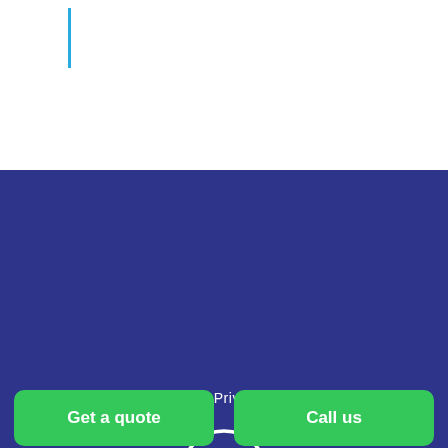[Figure (logo): Blue vertical bar line element on white background, partial logo]
Contact   Privacy Policy
[Figure (logo): Cosey Homes key logo: white key icon inside a white circle on dark blue background]
Cosey Homes Chartered Surveyors is a trading name of Cosey Homes Ltd. Registered in England No.9565753. Registered office: Unit 2, Craig Court, Standish Street, St Helens, WA10 1GJ. VAT registration No.216251733. Cosey Homes Chartered Surveyors is regulated by the Royal
Get a quote
Call us